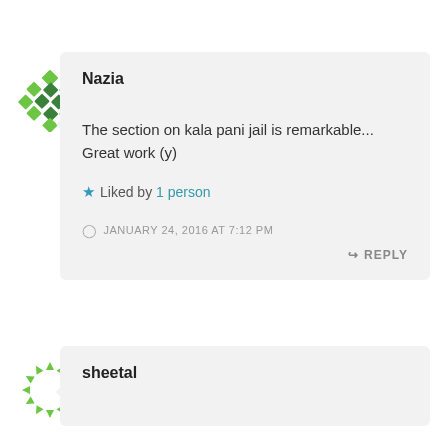[Figure (illustration): Green decorative avatar icon with diamond/square geometric pattern for user Nazia]
Nazia
The section on kala pani jail is remarkable... Great work (y)
Liked by 1 person
JANUARY 24, 2016 AT 7:12 PM
REPLY
[Figure (illustration): Green circular dotted/arrow avatar icon for user sheetal]
sheetal